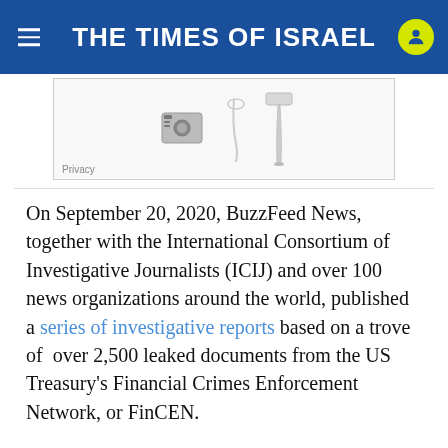THE TIMES OF ISRAEL
[Figure (photo): Partial advertisement image showing kitchen appliances and glassware on a white background, with a 'Privacy' label in the bottom-left corner.]
On September 20, 2020, BuzzFeed News, together with the International Consortium of Investigative Journalists (ICIJ) and over 100 news organizations around the world, published a series of investigative reports based on a trove of over 2,500 leaked documents from the US Treasury's Financial Crimes Enforcement Network, or FinCEN.
Most of the documents are “suspicious activity reports,” commonly called SARs, that 90 banks and other financial institutions submitted to FinCEN between 2011 and 2017. FinCEN’s mandate is to